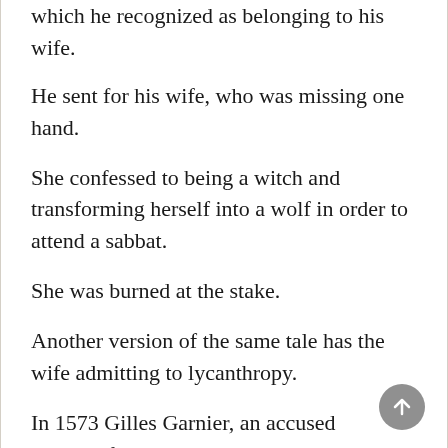which he recognized as belonging to his wife.
He sent for his wife, who was missing one hand.
She confessed to being a witch and transforming herself into a wolf in order to attend a sabbat.
She was burned at the stake.
Another version of the same tale has the wife admitting to lycanthropy.
In 1573 Gilles Garnier, an accused wizard of Lyons, France, was condemned to be burned alive for turning himself into a wolf and attacking and killing children, whom he devoured.